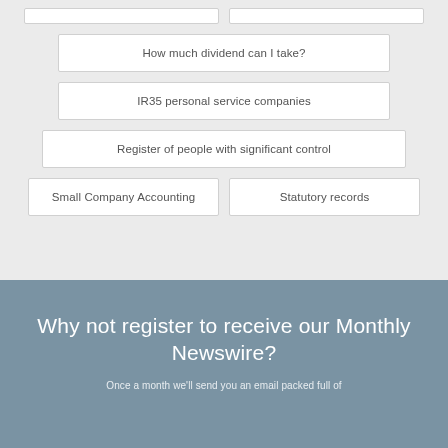How much dividend can I take?
IR35 personal service companies
Register of people with significant control
Small Company Accounting
Statutory records
Why not register to receive our Monthly Newswire?
Once a month we'll send you an email packed full of